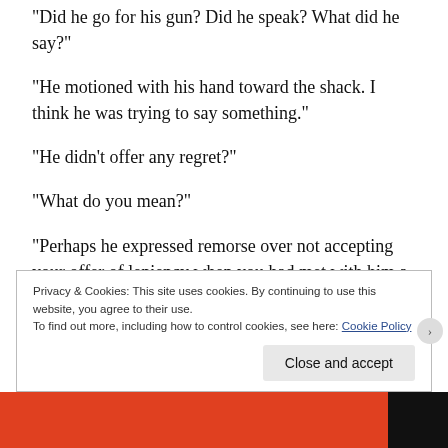“Did he go for his gun? Did he speak? What did he say?”
“He motioned with his hand toward the shack. I think he was trying to say something.”
“He didn’t offer any regret?”
“What do you mean?”
“Perhaps he expressed remorse over not accepting your offer of leniency when you had met with him a fortnight previous. Or sorrow over leaving a
Privacy & Cookies: This site uses cookies. By continuing to use this website, you agree to their use.
To find out more, including how to control cookies, see here: Cookie Policy